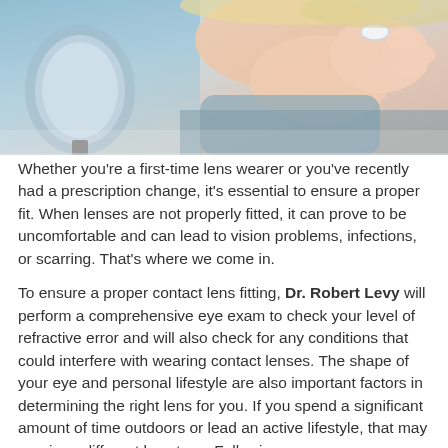[Figure (photo): A woman holding a contact lens up near her eye, with a mirror visible in the background, blue background tones]
Whether you're a first-time lens wearer or you've recently had a prescription change, it's essential to ensure a proper fit. When lenses are not properly fitted, it can prove to be uncomfortable and can lead to vision problems, infections, or scarring. That's where we come in.
To ensure a proper contact lens fitting, Dr. Robert Levy will perform a comprehensive eye exam to check your level of refractive error and will also check for any conditions that could interfere with wearing contact lenses. The shape of your eye and personal lifestyle are also important factors in determining the right lens for you. If you spend a significant amount of time outdoors or lead an active lifestyle, that may require a different lens type. Following a proper assessment, the doctor will ensure that the fit is correct which leads to better...